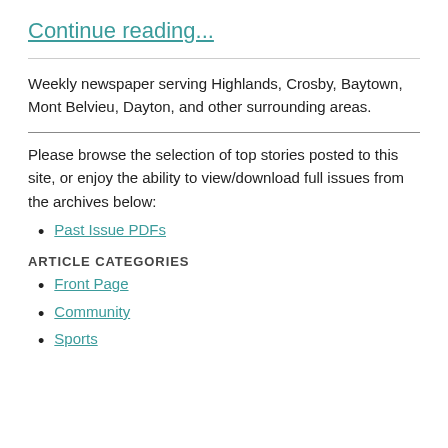Continue reading...
Weekly newspaper serving Highlands, Crosby, Baytown, Mont Belvieu, Dayton, and other surrounding areas.
Please browse the selection of top stories posted to this site, or enjoy the ability to view/download full issues from the archives below:
Past Issue PDFs
ARTICLE CATEGORIES
Front Page
Community
Sports